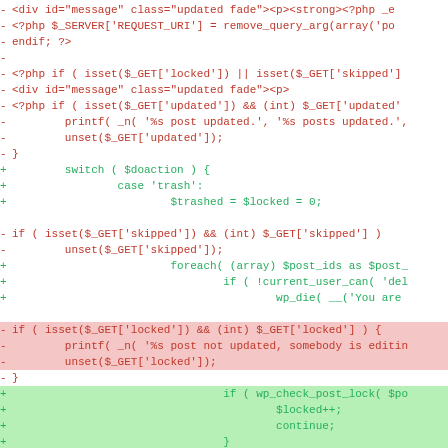[Figure (screenshot): A code diff view showing PHP code changes. Lines prefixed with '-' are in red (removed), lines prefixed with '+' are in green (added). Some lines have highlighted backgrounds indicating specific changes. The diff shows modifications to WordPress admin PHP code dealing with GET parameters for locked, skipped, updated, and deleted states, replacing direct conditional checks with a switch/foreach pattern using wp_check_post_lock.]